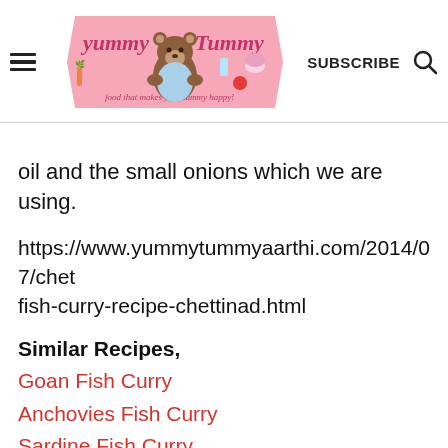[Figure (logo): Yummy Tummy logo with a cartoon bear and food items, tagline: food that makes your tummy happy!]
oil and the small onions which we are using.
https://www.yummytummyaarthi.com/2014/07/chettinad-fish-curry-recipe-chettinad.html
Similar Recipes,
Goan Fish Curry
Anchovies Fish Curry
Sardine Fish Curry
Chettinad Fish Curry
Malabar Fish Curry